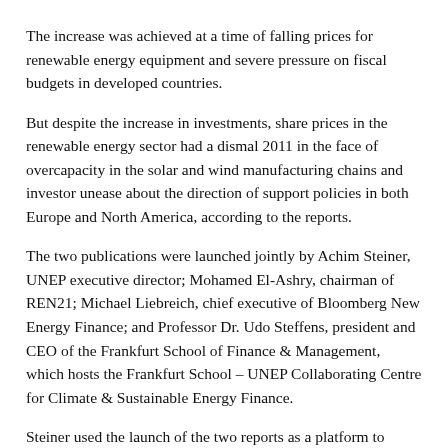The increase was achieved at a time of falling prices for renewable energy equipment and severe pressure on fiscal budgets in developed countries.
But despite the increase in investments, share prices in the renewable energy sector had a dismal 2011 in the face of overcapacity in the solar and wind manufacturing chains and investor unease about the direction of support policies in both Europe and North America, according to the reports.
The two publications were launched jointly by Achim Steiner, UNEP executive director; Mohamed El-Ashry, chairman of REN21; Michael Liebreich, chief executive of Bloomberg New Energy Finance; and Professor Dr. Udo Steffens, president and CEO of the Frankfurt School of Finance & Management, which hosts the Frankfurt School – UNEP Collaborating Centre for Climate & Sustainable Energy Finance.
Steiner used the launch of the two reports as a platform to encourage support for a green economy among world